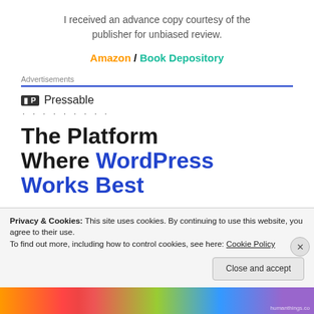I received an advance copy courtesy of the publisher for unbiased review.
Amazon / Book Depository
Advertisements
[Figure (logo): Pressable logo with icon and dotted line]
The Platform Where WordPress Works Best
Privacy & Cookies: This site uses cookies. By continuing to use this website, you agree to their use. To find out more, including how to control cookies, see here: Cookie Policy
Close and accept